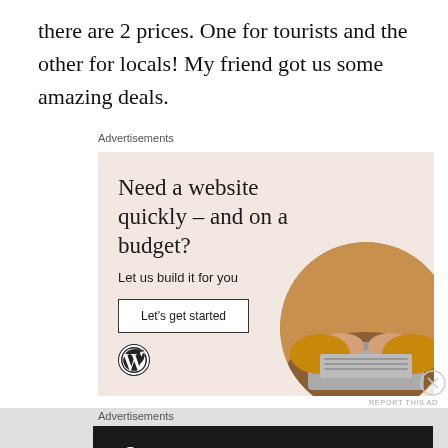there are 2 prices. One for tourists and the other for locals! My friend got us some amazing deals.
Advertisements
[Figure (illustration): WordPress advertisement banner with beige background. Headline: 'Need a website quickly – and on a budget?' Subtext: 'Let us build it for you'. Button: 'Let's get started'. WordPress logo at bottom left. Circular photo of person's hands typing on laptop at bottom right.]
REPORT THIS AD
Advertisements
[Figure (illustration): Dark advertisement banner with Taskade/F2 branding. Shows a small square icon, '2' in large white bold font, and text 'Fewer meetings, more work.' in white bold.]
REPORT THIS AD